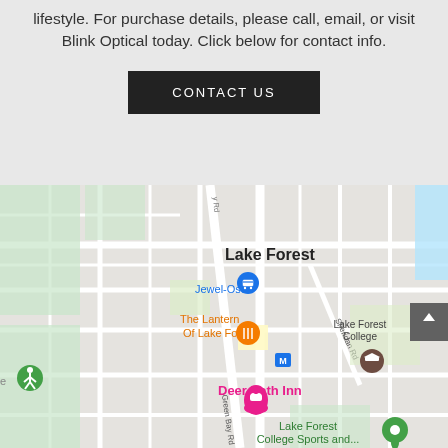lifestyle. For purchase details, please call, email, or visit Blink Optical today. Click below for contact info.
CONTACT US
[Figure (map): Google Maps screenshot showing Lake Forest area, Illinois. Shows Jewel-Osco, The Lantern Of Lake Forest restaurant, Deer Path Inn hotel, Lake Forest College, Lake Forest College Sports and..., and Green Bay Rd. Map markers in blue, orange, pink, green colors.]